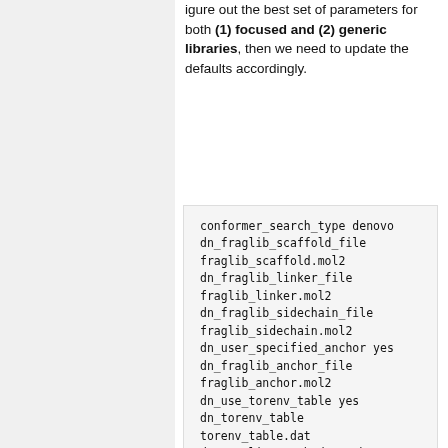igure out the best set of parameters for both (1) focused and (2) generic libraries, then we need to update the defaults accordingly.
conformer_search_type
denovo
dn_fraglib_scaffold_file
fraglib_scaffold.mol2
dn_fraglib_linker_file
fraglib_linker.mol2
dn_fraglib_sidechain_file
fraglib_sidechain.mol2
dn_user_specified_anchor
yes
dn_fraglib_anchor_file
fraglib_anchor.mol2
dn_use_torenv_table
yes
dn_torenv_table
torenv_table.dat
dn_sampling_method
graph
dn_graph_starting_points